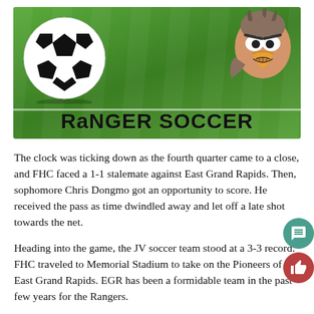[Figure (photo): Soccer ball on green grass field with a cartoon ranger/eagle mascot character in upper right, with 'Ranger Soccer' text overlay at bottom of image in bold black font]
The clock was ticking down as the fourth quarter came to a close, and FHC faced a 1-1 stalemate against East Grand Rapids. Then, sophomore Chris Dongmo got an opportunity to score. He received the pass as time dwindled away and let off a late shot towards the net.
Heading into the game, the JV soccer team stood at a 3-3 record. FHC traveled to Memorial Stadium to take on the Pioneers of East Grand Rapids. EGR has been a formidable team in the past few years for the Rangers. The start of the game was slow, which meant the defense